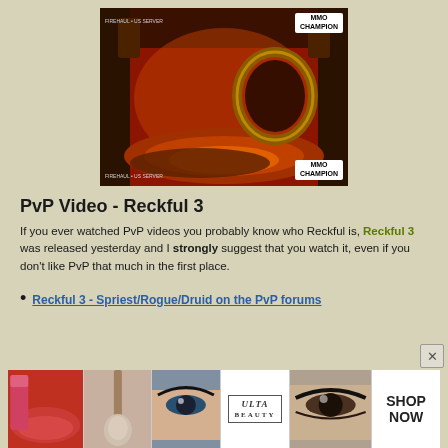[Figure (screenshot): MMO Champion branded screenshot of a World of Warcraft arena/dungeon environment with fiery red/orange tones, showing a portal ring and lava platform with stone columns]
PvP Video - Reckful 3
If you ever watched PvP videos you probably know who Reckful is, Reckful 3 was released yesterday and I strongly suggest that you watch it, even if you don't like PvP that much in the first place.
Reckful 3 - Spriest/Rogue/Druid on the PvP forums
[Figure (photo): Advertisement banner for ULTA beauty featuring lipstick, makeup brush, eye makeup, ULTA logo, eyes, and SHOP NOW text]